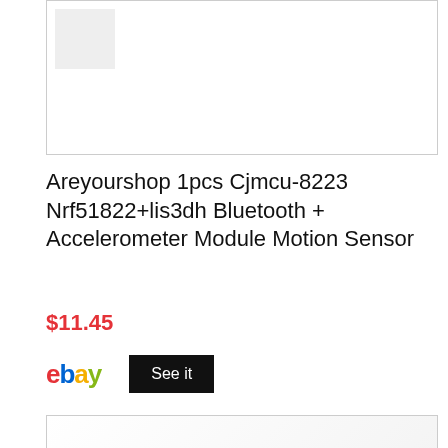[Figure (photo): Product photo placeholder for Cjmcu-8223 module, top portion of image visible]
Areyourshop 1pcs Cjmcu-8223 Nrf51822+lis3dh Bluetooth + Accelerometer Module Motion Sensor
$11.45
ebay  See it
[Figure (photo): Product photo of a purple/dark box item, partially visible at bottom of page]